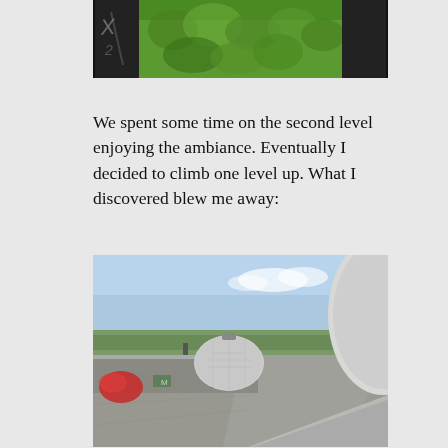[Figure (photo): Top portion of a photo showing graffiti-covered dark walls on both sides with a green forested area visible in the center, viewed from above]
We spent some time on the second level enjoying the ambiance. Eventually I decided to climb one level up. What I discovered blew me away:
[Figure (photo): Photo of an abandoned building rooftop with a large radar dome/radome in the center, a large white satellite dish visible on the right edge, graffiti-covered concrete barriers in the foreground, and a panoramic view of the Berlin landscape in the background under a hazy sky]